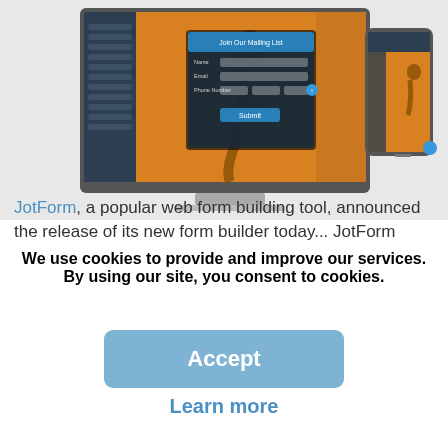[Figure (screenshot): Screenshot of JotForm web form builder UI shown on a desktop monitor and a mobile phone. The interface displays an orange-toned background with a silhouette of a running figure, along with form builder panels and a modal dialog on the desktop view. A mobile phone on the right shows a similar interface.]
JotForm, a popular web form building tool, announced the release of its new form builder today... JotForm
We use cookies to provide and improve our services. By using our site, you consent to cookies.
Accept
Learn more